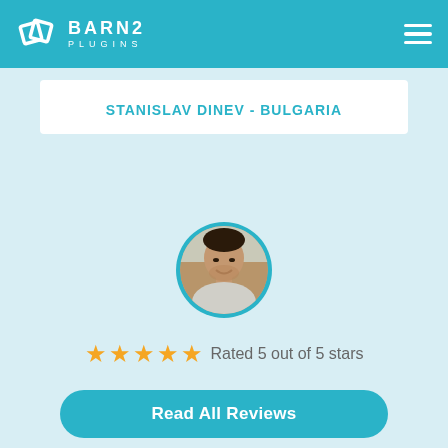BARN2 PLUGINS
STANISLAV DINEV - BULGARIA
[Figure (photo): Circular profile photo of a man (Stanislav Dinev) in a car, with a teal border ring]
Rated 5 out of 5 stars
Read All Reviews